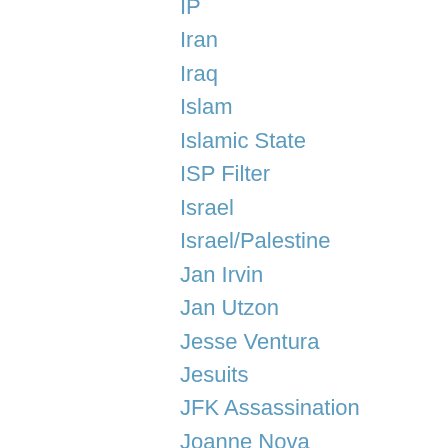IP
Iran
Iraq
Islam
Islamic State
ISP Filter
Israel
Israel/Palestine
Jan Irvin
Jan Utzon
Jesse Ventura
Jesuits
JFK Assassination
Joanne Nova
John Bursill
John Pilger
Jon Rappoport
Journalism
Julia Gillard
Julian Assange
Karen Hudes
Karen Straughan